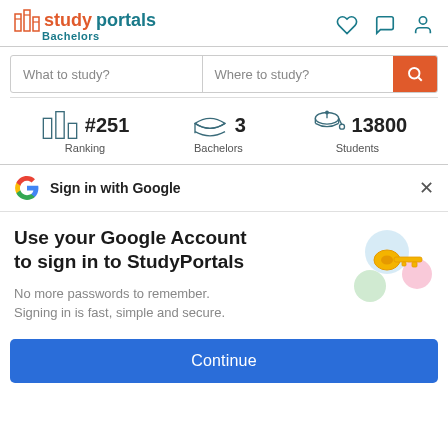studyportals Bachelors
What to study?  Where to study?
#251 Ranking   3 Bachelors   13800 Students
Sign in with Google
Use your Google Account to sign in to StudyPortals
No more passwords to remember. Signing in is fast, simple and secure.
Continue